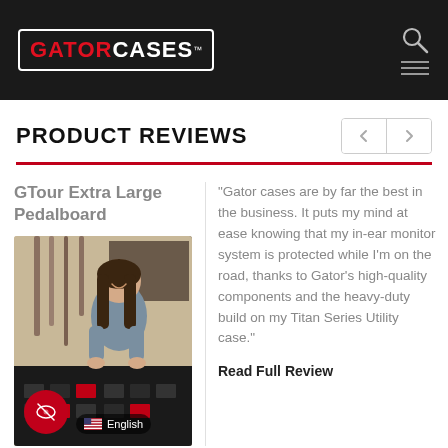GATOR CASES
PRODUCT REVIEWS
GTour Extra Large Pedalboard
[Figure (photo): Photo of a woman smiling next to a large black Gator pedalboard case in a music studio setting]
"Gator cases are by far the best in the business. It puts my mind at ease knowing that my in-ear monitor system is protected while I'm on the road, thanks to Gator's high-quality components and the heavy-duty build on my Titan Series Utility case."
Read Full Review